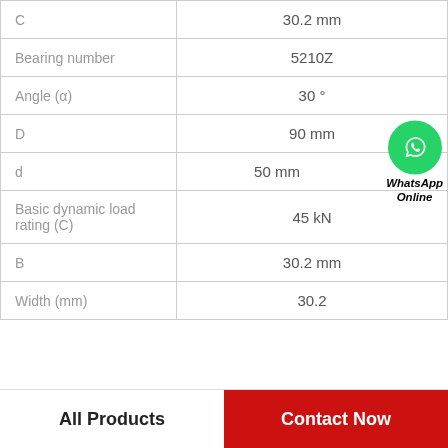| Parameter | Value |
| --- | --- |
| C | 30.2 mm |
| Bearing number | 5210Z |
| Angle (α) | 30 ° |
| D | 90 mm |
| d | 50 mm |
| Basic dynamic load rating (C) | 45 kN |
| B | 30.2 mm |
| Width (mm) | 30.2 |
WhatsApp Online
All Products | Contact Now